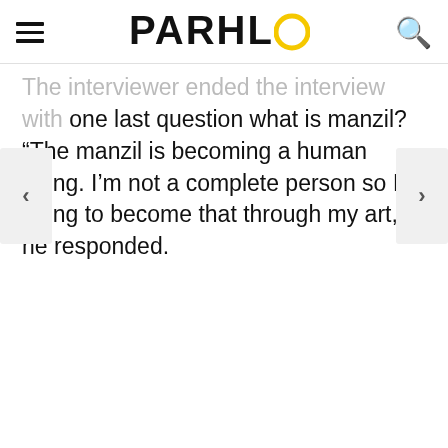PARHLO
The interviewer ended the interview with one last question what is manzil? “The manzil is becoming a human being. I’m not a complete person so I’m trying to become that through my art,” he responded.